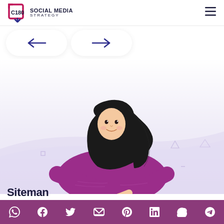C180 SOCIAL MEDIA STRATEGY
[Figure (illustration): Navigation arrow buttons: left arrow (←) and right arrow (→) in white rounded pill shapes]
[Figure (illustration): Flat-style illustration of a woman with long black hair wearing a purple/magenta sweater, leaning forward and pointing with one finger, on a light purple gradient background with small geometric decorative shapes]
Siteman
Social media icon links: WhatsApp, Facebook, Twitter, Email, Pinterest, LinkedIn, Skype, Telegram